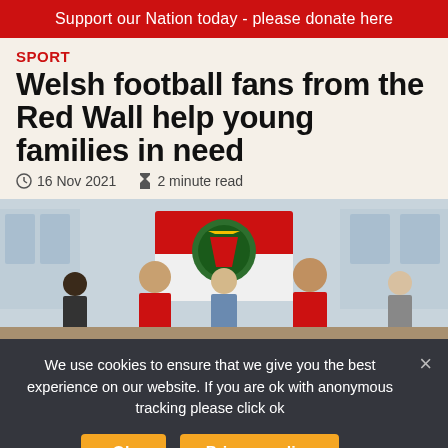Support our Nation today - please donate here
SPORT
Welsh football fans from the Red Wall help young families in need
16 Nov 2021   2 minute read
[Figure (photo): Group of people standing in front of a Welsh football flag/crest banner, some wearing red shirts, inside what appears to be a community building]
We use cookies to ensure that we give you the best experience on our website. If you are ok with anonymous tracking please click ok